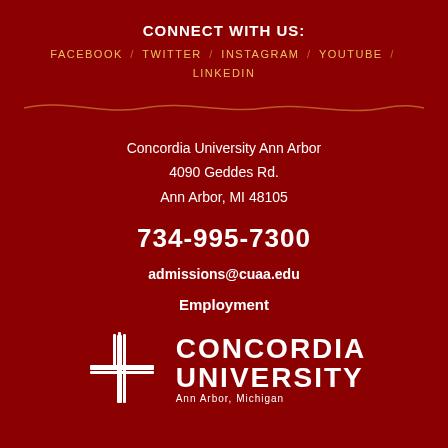CONNECT WITH US:
FACEBOOK / TWITTER / INSTAGRAM / YOUTUBE / LINKEDIN
[Figure (illustration): Decorative wavy line divider in dark red/orange on dark red background]
Concordia University Ann Arbor
4090 Geddes Rd.
Ann Arbor, MI 48105
734-995-7300
admissions@cuaa.edu
Employment
[Figure (logo): Concordia University Ann Arbor logo: white cross/torch icon on left, text CONCORDIA UNIVERSITY Ann Arbor, Michigan on right]